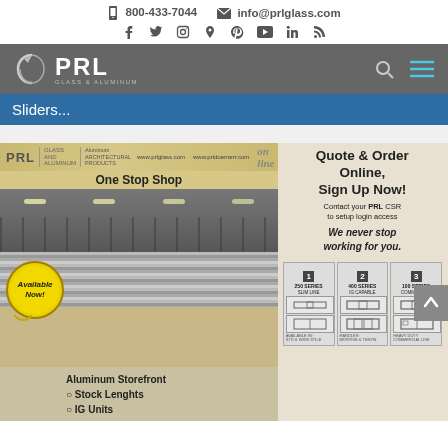☎ 800-433-7044  ✉ info@prlglass.com
[Figure (other): Social media icons: Facebook, Twitter, Instagram, Location, Pinterest, YouTube, LinkedIn, RSS]
[Figure (logo): PRL Glass & Aluminum logo with navigation bar, search icon, and hamburger menu]
Sliders...
[Figure (photo): PRL Glass & Aluminum promotional composite image showing warehouse with aluminum storefront stock, 'on line One Stop Shop' banner, 'Available Now!' badge, 'Quote & Order Online, Sign Up Now!' call to action with CSR contact info, 'We never stop working for you.' tagline, and series product selector with 250 Series, 400 Series, and 100 Series options.]